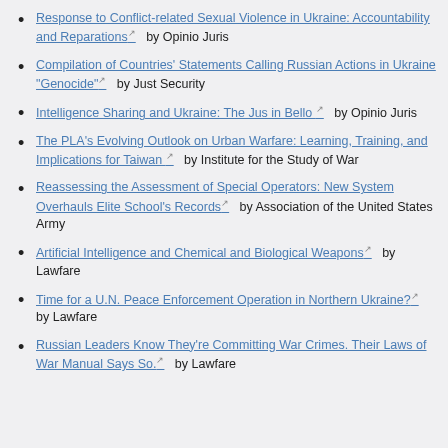Response to Conflict-related Sexual Violence in Ukraine: Accountability and Reparations [link] by Opinio Juris
Compilation of Countries' Statements Calling Russian Actions in Ukraine "Genocide" [link] by Just Security
Intelligence Sharing and Ukraine: The Jus in Bello [link] by Opinio Juris
The PLA's Evolving Outlook on Urban Warfare: Learning, Training, and Implications for Taiwan [link] by Institute for the Study of War
Reassessing the Assessment of Special Operators: New System Overhauls Elite School's Records [link] by Association of the United States Army
Artificial Intelligence and Chemical and Biological Weapons [link] by Lawfare
Time for a U.N. Peace Enforcement Operation in Northern Ukraine? [link] by Lawfare
Russian Leaders Know They're Committing War Crimes. Their Laws of War Manual Says So. [link] by Lawfare